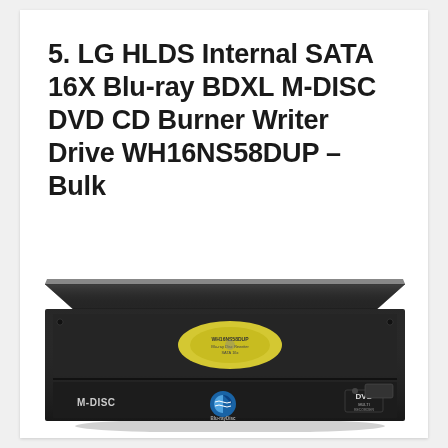5. LG HLDS Internal SATA 16X Blu-ray BDXL M-DISC DVD CD Burner Writer Drive WH16NS58DUP – Bulk
[Figure (photo): LG HLDS WH16NS58DUP internal SATA Blu-ray burner drive, black color, showing top and front panel with M-DISC and Blu-ray Disc logos, DVD Multi logo, and a yellow label on the disc tray area.]